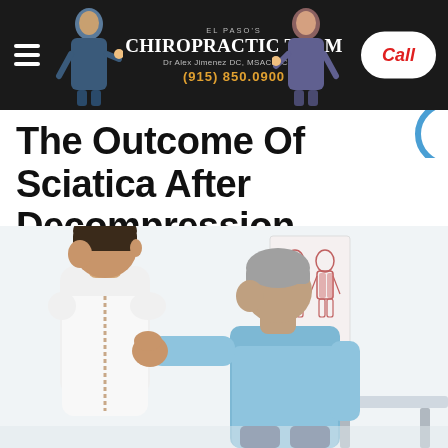EL PASO'S CHIROPRACTIC TEAM | Dr Alex Jimenez DC, MSACP, CCST | (915) 850.0900 | Call
The Outcome Of Sciatica After Decompression Therapy
[Figure (photo): A chiropractor (older male with grey hair, wearing light blue shirt) examining the back of a young male patient (white shirt) in a clinical setting. An anatomical muscle chart is visible on the wall in the background.]